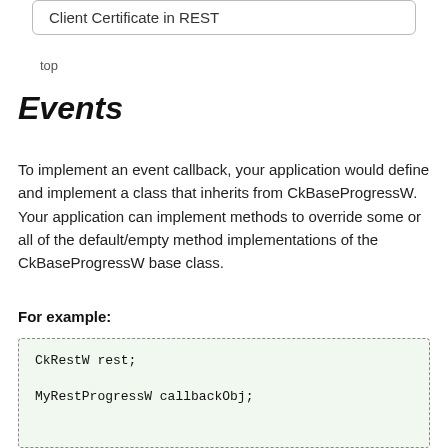Client Certificate in REST
top
Events
To implement an event callback, your application would define and implement a class that inherits from CkBaseProgressW. Your application can implement methods to override some or all of the default/empty method implementations of the CkBaseProgressW base class.
For example:
CkRestW rest;

MyRestProgressW callbackObj;